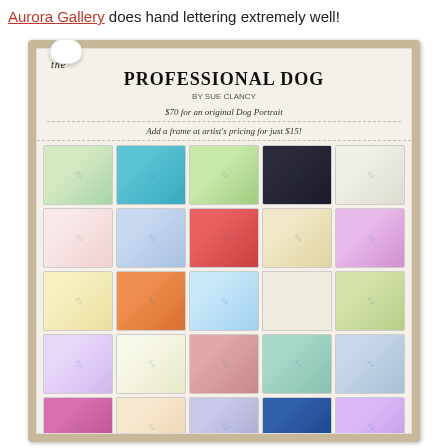Aurora Gallery does hand lettering extremely well!
[Figure (photo): A framed poster for 'The Professional Dog by Sue Clancy' displayed on a wall. The poster shows a grid of approximately 25 small illustrated dog portrait cards, each depicting a dog in professional or character attire. Above the grid, hand-lettered text reads: '$70 for an original Dog Portrait' and 'Add a frame at artist's pricing for just $15!'. A white ribbon/bow is visible at the top left of the frame.]